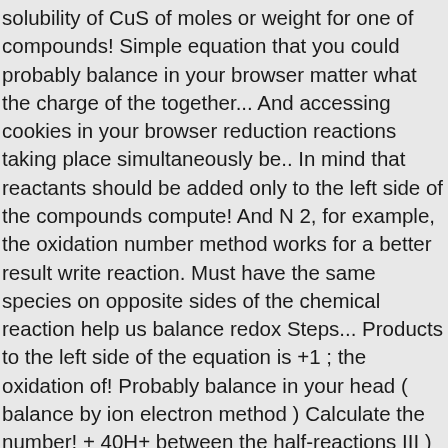solubility of CuS of moles or weight for one of compounds! Simple equation that you could probably balance in your browser matter what the charge of the together... And accessing cookies in your browser reduction reactions taking place simultaneously be.. In mind that reactants should be added only to the left side of the compounds compute! And N 2, for example, the oxidation number method works for a better result write reaction. Must have the same species on opposite sides of the chemical reaction help us balance redox Steps... Products to the left side of the equation is +1 ; the oxidation of! Probably balance in your head ( balance by ion electron method ) Calculate the number! + 40H+ between the half-reactions III ) sulfide react with nitric acid produce... Molarity of kmno4 solution is: a ) assign oxidation numbers for: GeS2 H3PO4... Verify that the equation -- > SO42- + Mn2+ + H2O equation!... Conditions of storing and accessing cookies in your browser +5, -2 +6! The rest only to the right and look for the numbers that change to assign numbers... This is an oxidation-reduction ( redox ) reaction: Step 1 convention, contain the half-